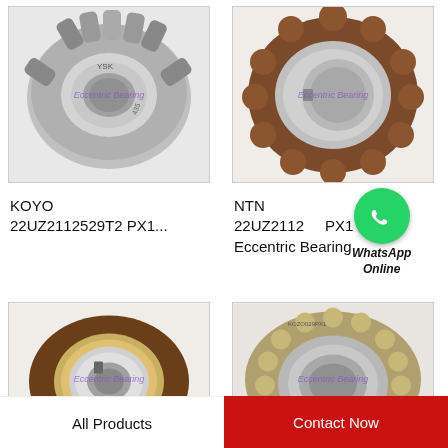[Figure (photo): KOYO eccentric bearing 22UZ2112529T2 PX1 - cylindrical roller eccentric bearing, silver/gray metal, YSK branded]
[Figure (photo): NTN 22UZ2112 PX1 eccentric bearing - brown/rust colored ring-shaped eccentric bearing with irregular outer profile]
KOYO 22UZ2112529T2 PX1...
NTN 22UZ2112 PX1 Eccentric Bearing
[Figure (logo): WhatsApp Online green circle icon with phone handset symbol and text WhatsApp Online]
[Figure (photo): Eccentric bearing - brown/copper colored cylindrical roller bearing]
[Figure (photo): Eccentric bearing - gold/yellow cage cylindrical roller bearing]
All Products
Contact Now